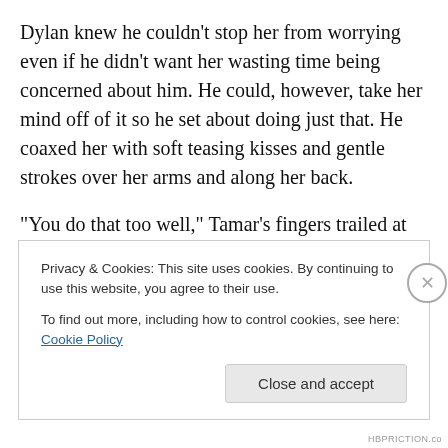Dylan knew he couldn't stop her from worrying even if he didn't want her wasting time being concerned about him. He could, however, take her mind off of it so he set about doing just that. He coaxed her with soft teasing kisses and gentle strokes over her arms and along her back.
“You do that too well,” Tamar’s fingers trailed at the ends of his hair. “And you need a haircut.” She nipped at his bottom lip, scooting closer to him.
“I learned from you.” He sank his weight more fully onto the bed, bracing on his elbows as he looked up at her
Privacy & Cookies: This site uses cookies. By continuing to use this website, you agree to their use.
To find out more, including how to control cookies, see here: Cookie Policy
Close and accept